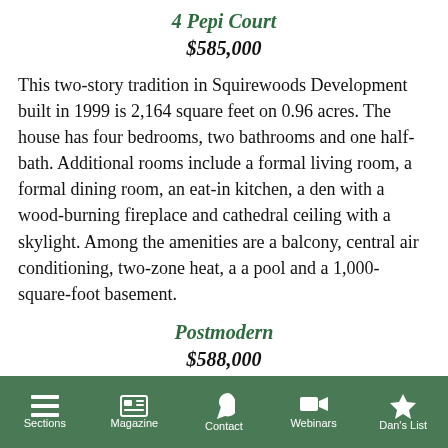4 Pepi Court
$585,000
This two-story tradition in Squirewoods Development built in 1999 is 2,164 square feet on 0.96 acres. The house has four bedrooms, two bathrooms and one half-bath. Additional rooms include a formal living room, a formal dining room, an eat-in kitchen, a den with a wood-burning fireplace and cathedral ceiling with a skylight. Among the amenities are a balcony, central air conditioning, two-zone heat, a a pool and a 1,000-square-foot basement.
Postmodern
$588,000
Sections   Magazine   Contact   Webinars   Dan's List